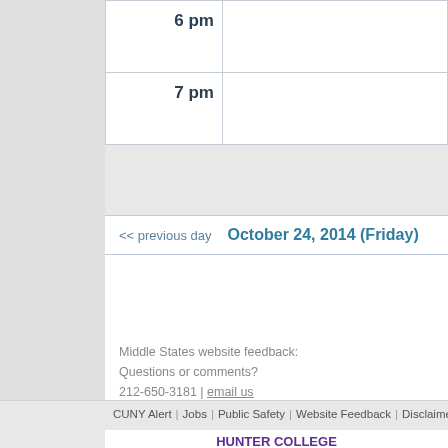| Time | Event |
| --- | --- |
| 6 pm |  |
| 7 pm |  |
<< previous day   October 24, 2014 (Friday)
Middle States website feedback:
Questions or comments?
212-650-3181 | email us
CUNY Alert   Jobs   Public Safety   Website Feedback   Disclaimer   Privacy P...
HUNTER COLLEGE
695 Park Ave
NY, NY 10065
212.772.4000